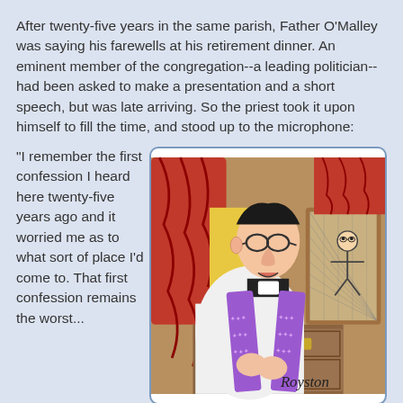After twenty-five years in the same parish, Father O'Malley was saying his farewells at his retirement dinner. An eminent member of the congregation--a leading politician--had been asked to make a presentation and a short speech, but was late arriving. So the priest took it upon himself to fill the time, and stood up to the microphone:
"I remember the first confession I heard here twenty-five years ago and it worried me as to what sort of place I'd come to. That first confession remains the worst...
[Figure (illustration): A cartoon illustration of a Catholic priest in white vestments with a purple stole, sitting in a confessional booth. The priest is shown in profile with glasses and a black collar. Behind him are red curtains and church woodwork. To the right is a confession screen/grille with a cartoon figure visible through it. A signature 'Royston' appears at the bottom right.]